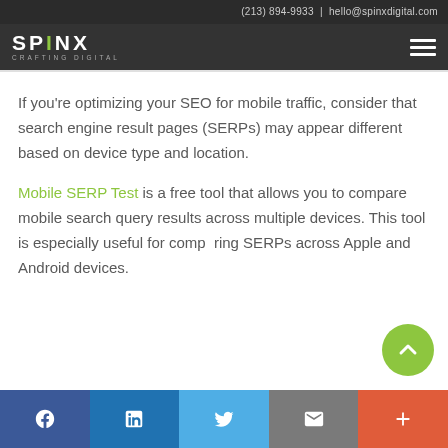(213) 894-9933 | hello@spinxdigital.com
[Figure (logo): SPINX Digital logo with tagline CRAFTING DIGITAL and hamburger menu icon]
If you’re optimizing your SEO for mobile traffic, consider that search engine result pages (SERPs) may appear different based on device type and location.
Mobile SERP Test is a free tool that allows you to compare mobile search query results across multiple devices. This tool is especially useful for comparing SERPs across Apple and Android devices.
[Figure (other): Green circular scroll-to-top button with upward chevron arrow]
Social share bar: Facebook, LinkedIn, Twitter, Email, More (+)